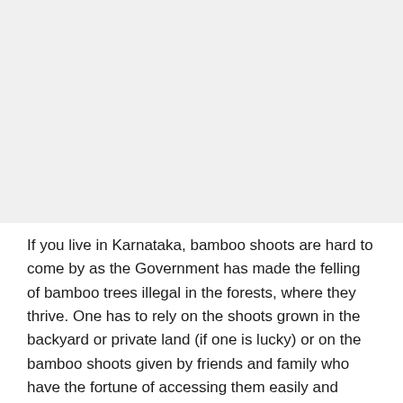[Figure (photo): Large photo or image occupying the top portion of the page, appears light/faded gray in this rendering.]
If you live in Karnataka, bamboo shoots are hard to come by as the Government has made the felling of bamboo trees illegal in the forests, where they thrive. One has to rely on the shoots grown in the backyard or private land (if one is lucky) or on the bamboo shoots given by friends and family who have the fortune of accessing them easily and legally. In other parts of India, like Goa and some north